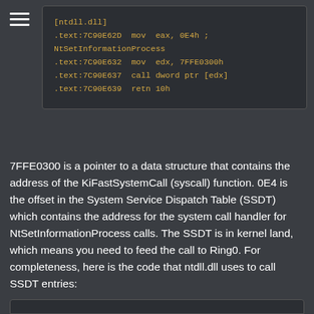[Figure (screenshot): Code block showing assembly listing for ntdll.dll NtSetInformationProcess stub]
7FFE0300 is a pointer to a data structure that contains the address of the KiFastSystemCall (syscall) function. 0E4 is the offset in the System Service Dispatch Table (SSDT) which contains the address for the system call handler for NtSetInformationProcess calls. The SSDT is in kernel land, which means you need to feed the call to Ring0. For completeness, here is the code that ntdll.dll uses to call SSDT entries: